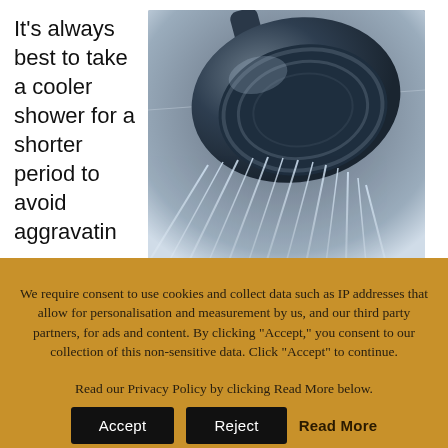It's always best to take a cooler shower for a shorter period to avoid aggravatin
[Figure (photo): Close-up photo of a dark blue/black shower head with water streams spraying out against a light grey tiled background]
We require consent to use cookies and collect data such as IP addresses that allow for personalisation and measurement by us, and our third party partners, for ads and content. By clicking "Accept," you consent to our collection of this non-sensitive data. Click "Accept" to continue.
Read our Privacy Policy by clicking Read More below.
Accept   Reject   Read More